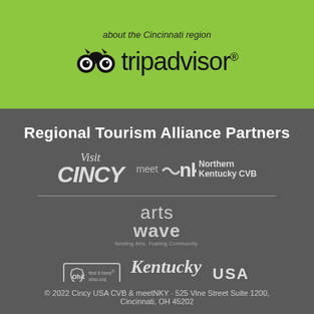about the Cincinnati region
[Figure (logo): TripAdvisor logo with owl icon and wordmark]
Regional Tourism Alliance Partners
[Figure (logo): Visit Cincy logo]
[Figure (logo): meet NKY Northern Kentucky CVB logo]
[Figure (logo): ArtsWave logo]
[Figure (logo): Ohio find it here ohio.org logo]
[Figure (logo): Kentucky Unbridled Spirit logo]
[Figure (logo): USA TourismAmerica.com logo]
© 2022 Cincy USA CVB & meetNKY · 525 Vine Street Suite 1200, Cincinnati, OH 45202